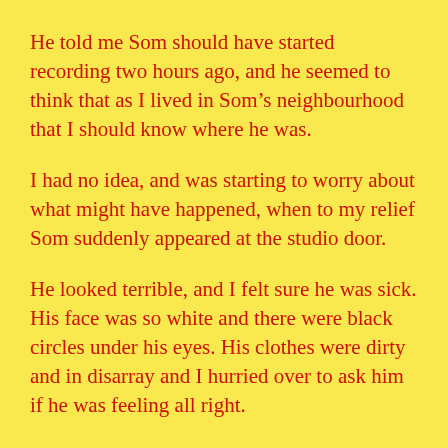He told me Som should have started recording two hours ago, and he seemed to think that as I lived in Som’s neighbourhood that I should know where he was.
I had no idea, and was starting to worry about what might have happened, when to my relief Som suddenly appeared at the studio door.
He looked terrible, and I felt sure he was sick. His face was so white and there were black circles under his eyes. His clothes were dirty and in disarray and I hurried over to ask him if he was feeling all right.